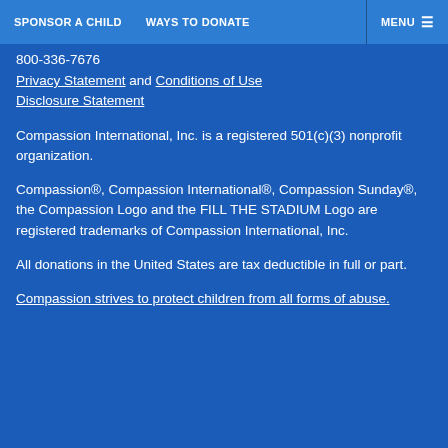SPONSOR A CHILD   WAYS TO DONATE   MENU
800-336-7676
Privacy Statement and Conditions of Use
Disclosure Statement
Compassion International, Inc. is a registered 501(c)(3) nonprofit organization.
Compassion®, Compassion International®, Compassion Sunday®, the Compassion Logo and the FILL THE STADIUM Logo are registered trademarks of Compassion International, Inc.
All donations in the United States are tax deductible in full or part.
Compassion strives to protect children from all forms of abuse.